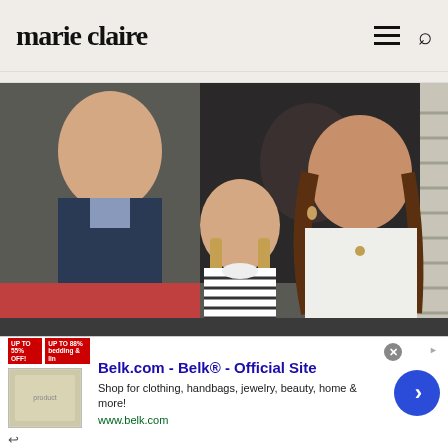marie claire
[Figure (photo): Photo of Prince William, Princess Charlotte, and Kate Middleton (in white jacket) seated together, looking to the side. A large dark artwork is visible in the background along with window blinds.]
Kate Middleton and Princess Charlotte are
[Figure (screenshot): Advertisement banner for Belk.com - Belk® - Official Site. Shows promotional tags, a product image, and text: 'Shop for clothing, handbags, jewelry, beauty, home & more!' with URL www.belk.com and a blue arrow button.]